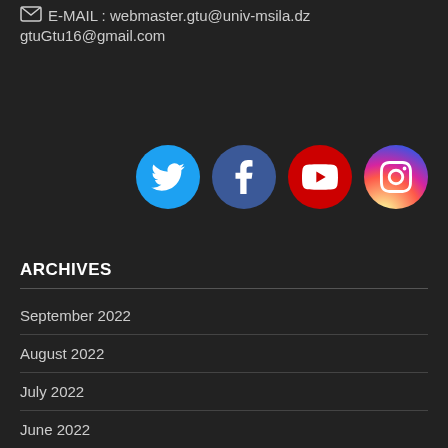E-MAIL : webmaster.gtu@univ-msila.dz
gtuGtu16@gmail.com
[Figure (infographic): Four social media icons in circles: Twitter (blue), Facebook (dark blue), YouTube (red), Instagram (gradient pink/purple)]
ARCHIVES
September 2022
August 2022
July 2022
June 2022
May 2022